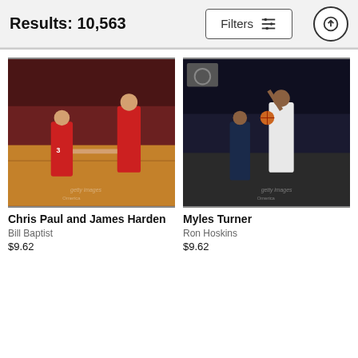Results: 10,563
[Figure (screenshot): Filters button with sliders icon and upload/share button]
[Figure (photo): NBA photo of Chris Paul and James Harden in Houston Rockets red uniforms shaking hands on the court]
Chris Paul and James Harden
Bill Baptist
$9.62
[Figure (photo): NBA photo of Myles Turner in Indiana Pacers white uniform going up for a layup in an arena]
Myles Turner
Ron Hoskins
$9.62